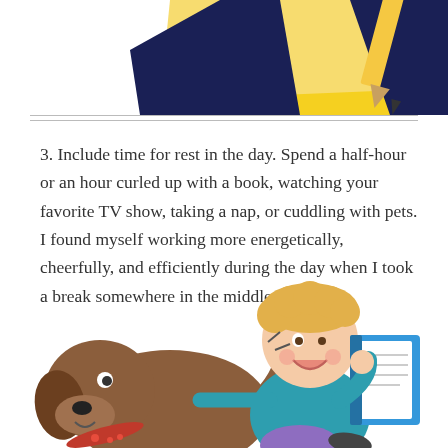[Figure (illustration): Partial top illustration showing a yellow notepad and dark blue/navy pencil on white background, cropped at top of page.]
3. Include time for rest in the day. Spend a half-hour or an hour curled up with a book, watching your favorite TV show, taking a nap, or cuddling with pets. I found myself working more energetically, cheerfully, and efficiently during the day when I took a break somewhere in the middle.
[Figure (illustration): Cartoon illustration of a smiling boy with curly blond hair reading a blue book while sitting with a large brown dog that has a red collar.]